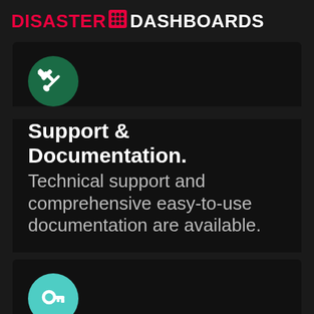DISASTER DASHBOARDS
[Figure (logo): Green circle icon with crossed hammer and tools (wrench/screwdriver), representing support and documentation]
Support & Documentation.
Technical support and comprehensive easy-to-use documentation are available.
[Figure (logo): Teal/mint green circle icon with a key symbol, partially visible at bottom of page]